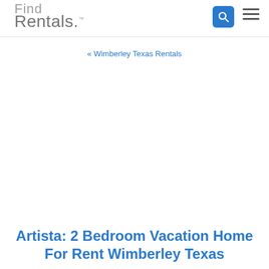Find Rentals
« Wimberley Texas Rentals
Artista: 2 Bedroom Vacation Home For Rent Wimberley Texas